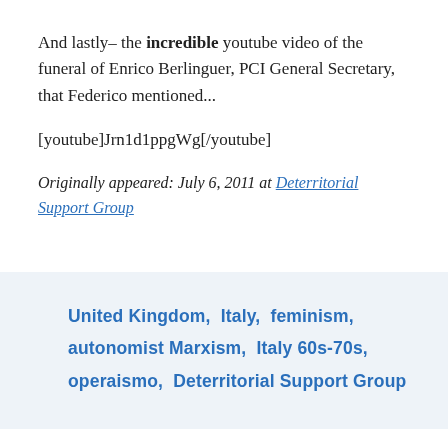And lastly– the incredible youtube video of the funeral of Enrico Berlinguer, PCI General Secretary, that Federico mentioned...
[youtube]Jrn1d1ppgWg[/youtube]
Originally appeared: July 6, 2011 at Deterritorial Support Group
United Kingdom,  Italy,  feminism,  autonomist Marxism,  Italy 60s-70s,  operaismo,  Deterritorial Support Group